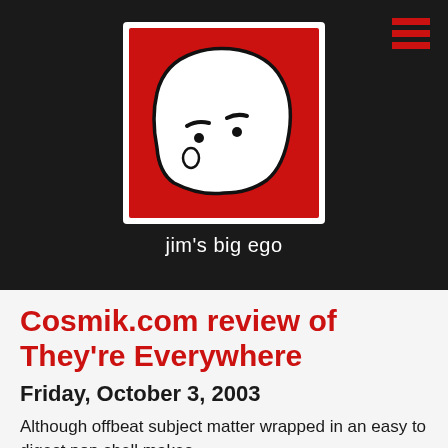[Figure (logo): Jim's Big Ego logo: cartoon drawing of a bald head with a small face, white figure on red background with black border, on dark background. Hamburger menu icon in top right corner.]
jim's big ego
Cosmik.com review of They're Everywhere
Friday, October 3, 2003
Although offbeat subject matter wrapped in an easy to digest pop shell makes comparisons to They Might Be Giants or early Barenaked